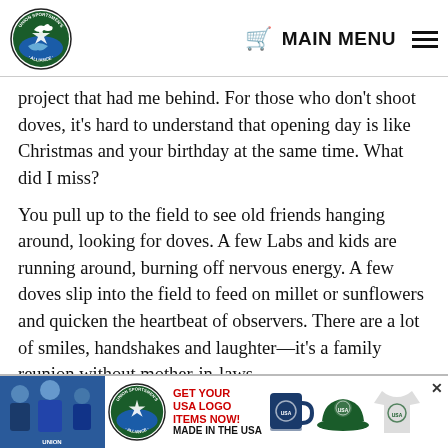Union Sportsmen's Alliance — MAIN MENU
project that had me behind. For those who don't shoot doves, it's hard to understand that opening day is like Christmas and your birthday at the same time. What did I miss?
You pull up to the field to see old friends hanging around, looking for doves. A few Labs and kids are running around, burning off nervous energy. A few doves slip into the field to feed on millet or sunflowers and quicken the heartbeat of observers. There are a lot of smiles, handshakes and laughter—it's a family reunion without mother-in-laws.
[Figure (infographic): Advertisement banner for Union Sportsmen's Alliance USA logo items — shows people in union gear, the alliance logo, red text reading GET YOUR USA LOGO ITEMS NOW! MADE IN THE USA, a navy mug, green hat, and grey t-shirt with alliance logo.]